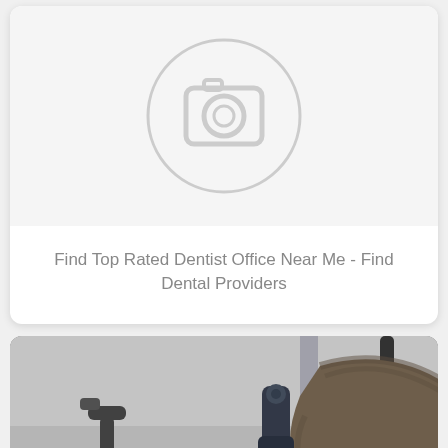[Figure (photo): Placeholder image icon (camera icon in a circle) representing a missing photo for a dental provider listing]
Find Top Rated Dentist Office Near Me - Find Dental Providers
[Figure (photo): Photo of a dental office scene showing a patient in a dental chair from behind, with dental equipment visible including chair arm and overhead light, blurred background]